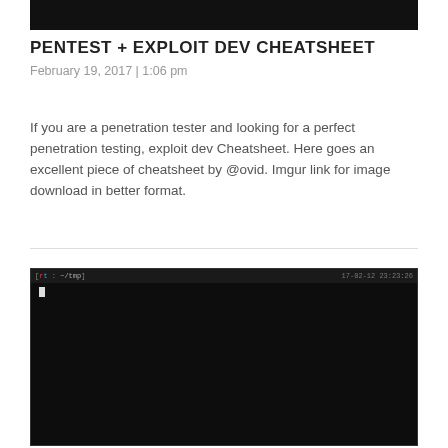[Figure (screenshot): Top cropped black terminal/screenshot image]
PENTEST + EXPLOIT DEV CHEATSHEET
February 19, 2017 | 1:06 pm
If you are a penetration tester and looking for a perfect penetration testing, exploit dev Cheatsheet. Here goes an excellent piece of cheatsheet by @ovid. Imgur link for image download in better format.
[Figure (screenshot): Terminal window screenshot showing a dark command-line interface with a prompt]